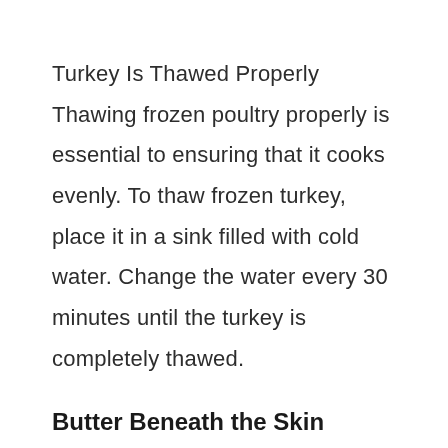Turkey Is Thawed Properly Thawing frozen poultry properly is essential to ensuring that it cooks evenly. To thaw frozen turkey, place it in a sink filled with cold water. Change the water every 30 minutes until the turkey is completely thawed.
Butter Beneath the Skin